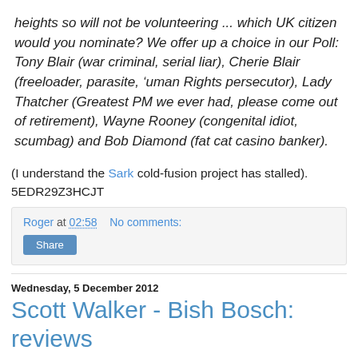heights so will not be volunteering ... which UK citizen would you nominate? We offer up a choice in our Poll: Tony Blair (war criminal, serial liar), Cherie Blair (freeloader, parasite, ‘uman Rights persecutor), Lady Thatcher (Greatest PM we ever had, please come out of retirement), Wayne Rooney (congenital idiot, scumbag) and Bob Diamond (fat cat casino banker).
(I understand the Sark cold-fusion project has stalled). 5EDR29Z3HCJT
Roger at 02:58    No comments:
Share
Wednesday, 5 December 2012
Scott Walker - Bish Bosch: reviews
A visit to Google will yield many reviews of Scott Walker's "Bish Bosch". Some representative comments are: